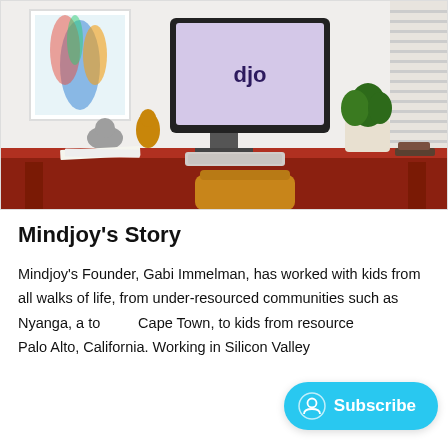[Figure (photo): A home office desk scene with an iMac computer displaying the 'djo' logo on its screen, a red desk, yellow chair, toys and figurines, colorful artwork on the wall, a keyboard, and a potted plant.]
Mindjoy's Story
Mindjoy's Founder, Gabi Immelman, has worked with kids from all walks of life, from under-resourced communities such as Nyanga, a to... Cape Town, to kids from resource... Palo Alto, California. Working in Silicon Valley